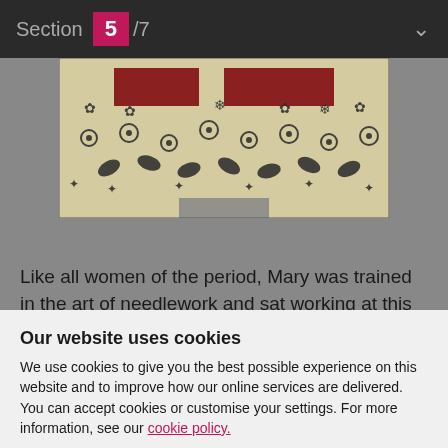Section 5/7
[Figure (photo): Embroidered textile with floral and leaf patterns in black on cream background, with red rectangular panels]
Like all women of the period, Mary was trained in the art of needlework and sat working at this during sessions of her Privy Council. Mary could not have
Our website uses cookies
We use cookies to give you the best possible experience on this website and to improve how our online services are delivered. You can accept cookies or customise your settings. For more information, see our cookie policy.